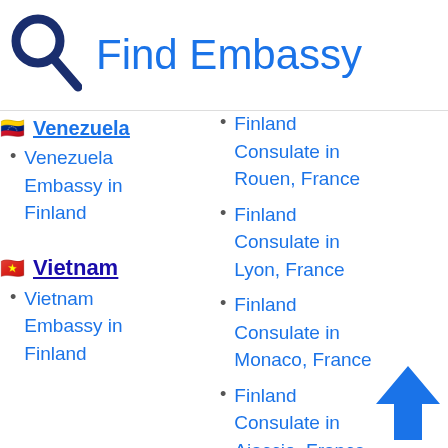Find Embassy
Venezuela (partially visible)
Venezuela Embassy in Finland
Vietnam
Vietnam Embassy in Finland
Finland Consulate in Rouen, France
Finland Consulate in Lyon, France
Finland Consulate in Monaco, France
Finland Consulate in Ajaccio, France
[Figure (illustration): Blue upward-pointing arrow in the bottom-right corner]